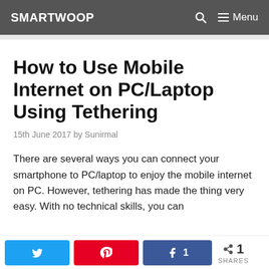SMARTWOOP
How to Use Mobile Internet on PC/Laptop Using Tethering
15th June 2017 by Sunirmal
There are several ways you can connect your smartphone to PC/laptop to enjoy the mobile internet on PC. However, tethering has made the thing very easy. With no technical skills, you can